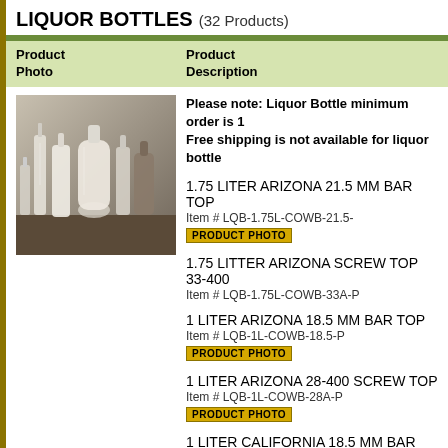LIQUOR BOTTLES (32 Products)
| Product Photo | Product Description |
| --- | --- |
| [photo of liquor bottles] | Please note: Liquor Bottle minimum order is 1 Free shipping is not available for liquor bottle
1.75 LITER ARIZONA 21.5 MM BAR TOP
Item # LQB-1.75L-COWB-21.5-
[PRODUCT PHOTO]
1.75 LITTER ARIZONA SCREW TOP 33-400
Item # LQB-1.75L-COWB-33A-P
1 LITER ARIZONA 18.5 MM BAR TOP
Item # LQB-1L-COWB-18.5-P
[PRODUCT PHOTO]
1 LITER ARIZONA 28-400 SCREW TOP
Item # LQB-1L-COWB-28A-P
[PRODUCT PHOTO]
1 LITER CALIFORNIA 18.5 MM BAR TOP
Item # LQB-1L-LWCOW-18.5-P
750 ML DEVIL ROUND 21.5 MM BARTOP
Item # LQB-350-DVLR-18.5-P
375 ML NORDIC BOTTLE 28-400 SCREW TOP
Item # LQB-375-BELL-33A-P |